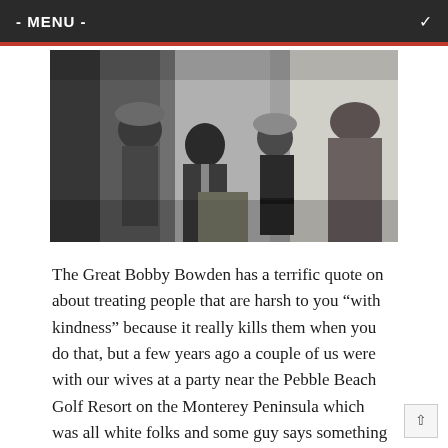- MENU -
[Figure (photo): Black and white historical photograph showing several men, some in police/military helmets, standing near what appears to be a building entrance. A man in a suit stands prominently in the center-left, with a police officer and another man in a suit visible in the background.]
The Great Bobby Bowden has a terrific quote on about treating people that are harsh to you “with kindness” because it really kills them when you do that, but a few years ago a couple of us were with our wives at a party near the Pebble Beach Golf Resort on the Monterey Peninsula which was all white folks and some guy says something very racist about black people that we will